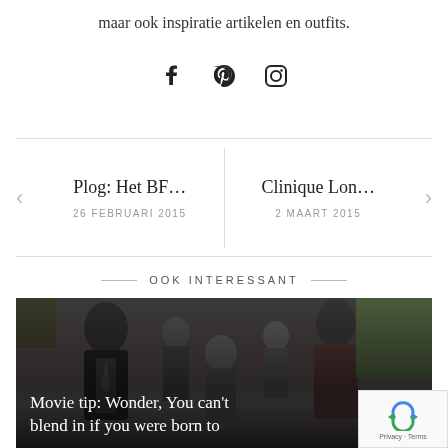maar ook inspiratie artikelen en outfits.
[Figure (illustration): Social media icons: Facebook, Pinterest, Instagram]
Plog: Het BF…
26 FEBRUARI 2015
Clinique Lon…
2 MAART 2015
OOK INTERESSANT
[Figure (photo): Movie scene showing a group of people walking, with overlay text: Movie tip: Wonder, You can't blend in if you were born to]